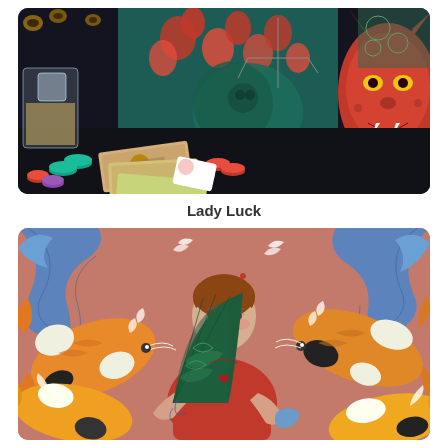[Figure (illustration): An illustrated scene of a gambling table with casino chips, playing cards, Japanese currency, a glass of drink with ice, hibiscus flowers in red, a green tattooed figure, a red oni/demon mask with horns, and various gambling paraphernalia on a dark background.]
Lady Luck
[Figure (illustration): An illustrated scene of a woman in red clothing holding a dark green decorative fan in front of her face, surrounded by large colorful koi fish in orange, yellow, white, and black on a salmon/terracotta pink background, with blue wave motifs in the upper corners.]